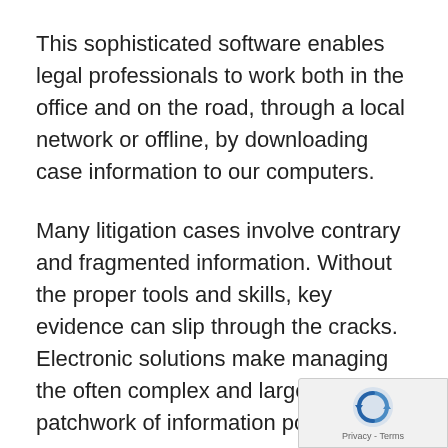This sophisticated software enables legal professionals to work both in the office and on the road, through a local network or offline, by downloading case information to our computers.
Many litigation cases involve contrary and fragmented information. Without the proper tools and skills, key evidence can slip through the cracks. Electronic solutions make managing the often complex and large patchwork of information possible.
Axley Brynelson, LLP's electronic software database has the ability to identify hundreds of thousands of documents potentially re[levant to the case. When a computer search is]...
[Figure (other): Google reCAPTCHA badge overlay in bottom-right corner showing reCAPTCHA logo and 'Privacy - Terms' text]